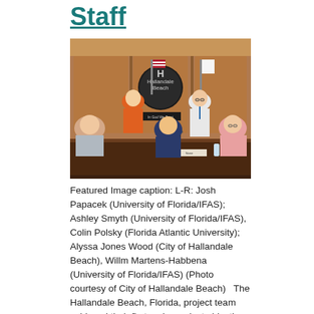Staff
[Figure (photo): Group photo of five people seated and standing at a conference table in a wood-paneled room with a Hallandale Beach city seal on the wall and two flags in the background.]
Featured Image caption: L-R: Josh Papacek (University of Florida/IFAS); Ashley Smyth (University of Florida/IFAS), Colin Polsky (Florida Atlantic University); Alyssa Jones Wood (City of Hallandale Beach), Willm Martens-Habbena (University of Florida/IFAS) (Photo courtesy of City of Hallandale Beach)   The Hallandale Beach, Florida, project team achieved their first major project objective on May